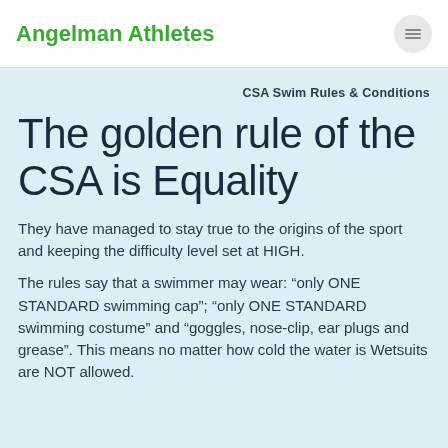Angelman Athletes
CSA Swim Rules & Conditions
The golden rule of the CSA is Equality
They have managed to stay true to the origins of the sport and keeping the difficulty level set at HIGH.
The rules say that a swimmer may wear: “only ONE STANDARD swimming cap”; “only ONE STANDARD swimming costume” and “goggles, nose-clip, ear plugs and grease”. This means no matter how cold the water is Wetsuits are NOT allowed.